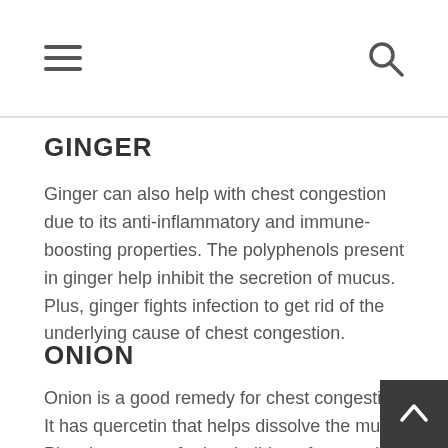[Navigation header with hamburger menu and search icon]
GINGER
Ginger can also help with chest congestion due to its anti-inflammatory and immune-boosting properties. The polyphenols present in ginger help inhibit the secretion of mucus. Plus, ginger fights infection to get rid of the underlying cause of chest congestion.
ONION
Onion is a good remedy for chest congestion. It has quercetin that helps dissolve the mucus. Plus, it prevents further buildup of mucus in the chest. Its